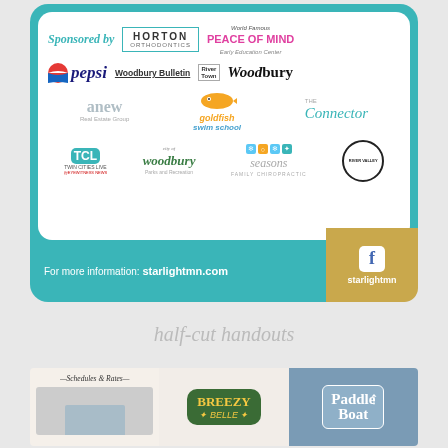[Figure (infographic): Sponsor logos panel on teal background: Sponsored by, Horton Orthodontics, World Famous Peace of Mind Early Education Center, Pepsi, Woodbury Bulletin, River Town, Woodbury magazine, anew Real Estate Group, Goldfish Swim School, The Connector, Twin Cities Live, City of Woodbury Parks and Recreation, Seasons Family Chiropractic, River Valley. Footer: For more information: starlightmn.com and Facebook starlightmn]
half-cut handouts
[Figure (photo): Schedules & Rates brochure thumbnail with building image]
[Figure (logo): Breezy Belle logo on green badge]
[Figure (logo): Paddle Boat text logo on blue background with upward arrow]